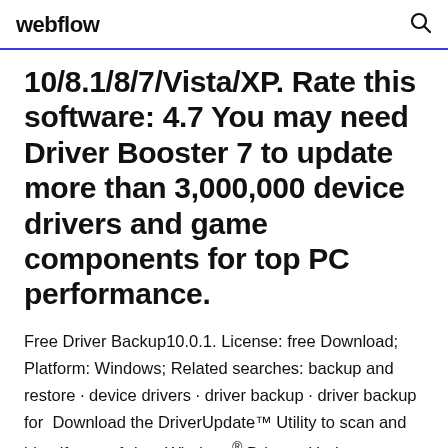webflow
10/8.1/8/7/Vista/XP. Rate this software: 4.7 You may need Driver Booster 7 to update more than 3,000,000 device drivers and game components for top PC performance.
Free Driver Backup10.0.1. License: free Download; Platform: Windows; Related searches: backup and restore · device drivers · driver backup · driver backup for  Download the DriverUpdate™ Utility to scan and identify out-of-date Windows® Drivers. Update your PC with the correct Windows® Drivers with our full-